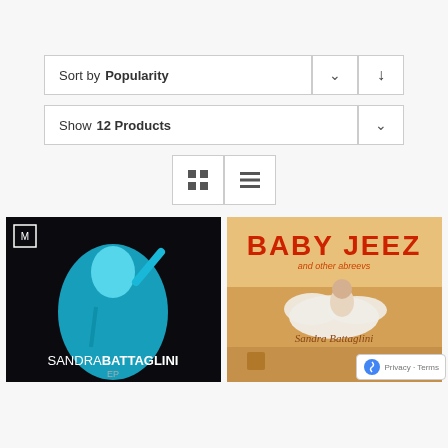Sort by Popularity
Show 12 Products
[Figure (screenshot): Grid and list view toggle buttons]
[Figure (photo): Album cover: Sandra Battaglini EP - person in cyan on dark background pointing up with mic]
[Figure (photo): Album cover: Baby Jeez and other abreevs - Sandra Battaglini sitting on cloud in desert setting]